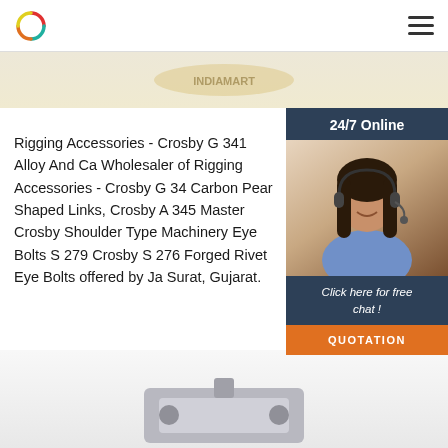[Figure (logo): Circular logo with red/teal/orange ring on white background]
[Figure (screenshot): Customer support chat widget with 24/7 Online header, photo of woman with headset, 'Click here for free chat!' text and QUOTATION orange button]
Rigging Accessories - Crosby G 341 Alloy And Ca Wholesaler of Rigging Accessories - Crosby G 34 Carbon Pear Shaped Links, Crosby A 345 Master Crosby Shoulder Type Machinery Eye Bolts S 279 Crosby S 276 Forged Rivet Eye Bolts offered by Ja Surat, Gujarat.
[Figure (illustration): Green 'Get Price' button]
[Figure (illustration): Grey circular scroll-up arrow button]
[Figure (photo): Product photo partially visible at bottom of page]